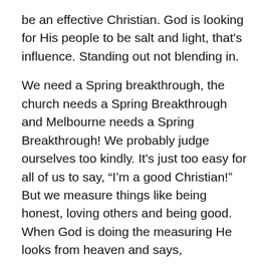be an effective Christian. God is looking for His people to be salt and light, that's influence. Standing out not blending in.
We need a Spring breakthrough, the church needs a Spring Breakthrough and Melbourne needs a Spring Breakthrough! We probably judge ourselves too kindly. It's just too easy for all of us to say, “I’m a good Christian!” But we measure things like being honest, loving others and being good. When God is doing the measuring He looks from heaven and says,
Eze 9:4  “Walk through the city of Jerusalem and mark the forehead of anyone who is truly upset and sad about the disgusting things that are being done here.” (CEV)
And this: Mat 28:19  Go to the people of all nations and